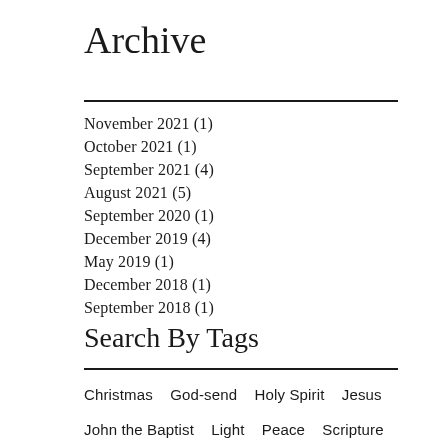Archive
November 2021 (1)
October 2021 (1)
September 2021 (4)
August 2021 (5)
September 2020 (1)
December 2019 (4)
May 2019 (1)
December 2018 (1)
September 2018 (1)
Search By Tags
Christmas   God-send   Holy Spirit   Jesus
John the Baptist   Light   Peace   Scripture